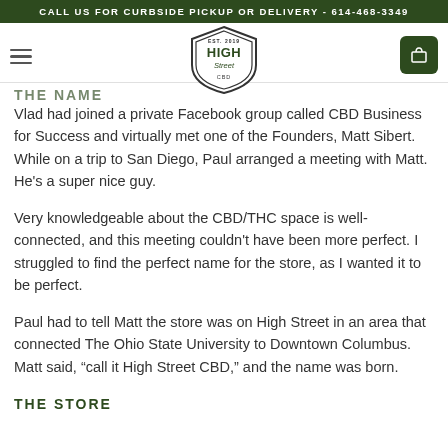CALL US FOR CURBSIDE PICKUP OR DELIVERY - 614-468-3349
[Figure (logo): High Street CBD shield logo with EST. 2019 at top and 'High Street' text inside a shield badge]
THE NAME
Vlad had joined a private Facebook group called CBD Business for Success and virtually met one of the Founders, Matt Sibert. While on a trip to San Diego, Paul arranged a meeting with Matt. He's a super nice guy.
Very knowledgeable about the CBD/THC space is well-connected, and this meeting couldn't have been more perfect. I struggled to find the perfect name for the store, as I wanted it to be perfect.
Paul had to tell Matt the store was on High Street in an area that connected The Ohio State University to Downtown Columbus. Matt said, “call it High Street CBD,” and the name was born.
THE STORE